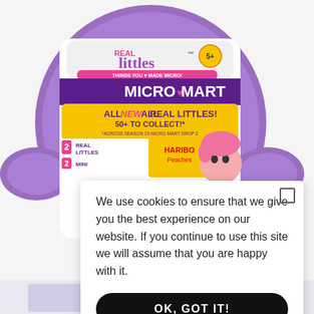[Figure (photo): Real Littles Micro Mart toy ball product image – large purple spherical toy with wings/handles on sides, featuring colorful packaging label reading 'REAL Littles THINGS YOU LOVE MADE MICRO! MICRO MART ALL NEW REAL LITTLES! 50+ TO COLLECT! *ACROSS SEASON 15 MICRO MART DROP 2, 2 REAL LITTLES, 2 MINI, HARIBO Peaches' with cartoon characters. A partial second product image visible at bottom.]
We use cookies to ensure that we give you the best experience on our website. If you continue to use this site we will assume that you are happy with it.
OK, GOT IT!